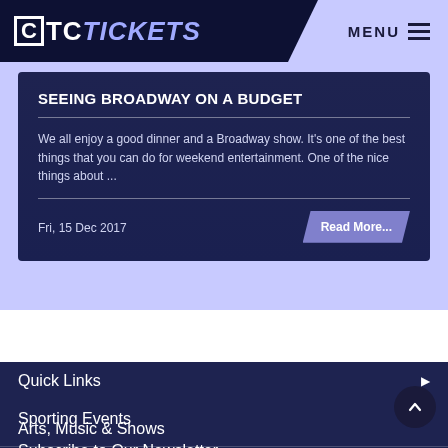CTC TICKETS | MENU
SEEING BROADWAY ON A BUDGET
We all enjoy a good dinner and a Broadway show. It’s one of the best things that you can do for weekend entertainment. One of the nice things about ...
Fri, 15 Dec 2017
Read More...
Quick Links
Sporting Events
Arts, Music & Shows
Subscribe to Our Newsletter